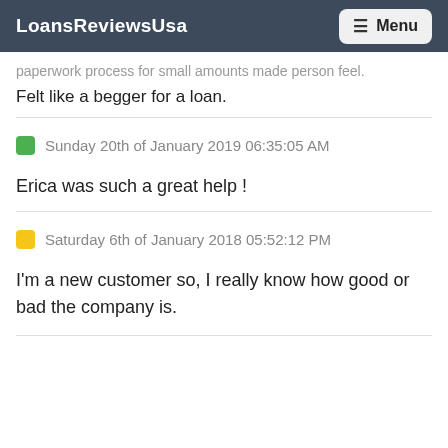LoansReviewsUsa | Menu
paperwork process for small amounts made person feel. Felt like a begger for a loan.
Sunday 20th of January 2019 06:35:05 AM
Erica was such a great help !
Saturday 6th of January 2018 05:52:12 PM
I'm a new customer so, I really know how good or bad the company is.